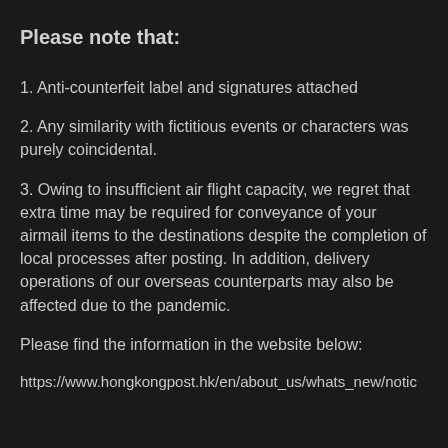Please note that:
1. Anti-counterfeit label and signatures attached
2. Any similarity with fictitious events or characters was purely coincidental.
3. Owing to insufficient air flight capacity, we regret that extra time may be required for conveyance of your airmail items to the destinations despite the completion of local processes after posting. In addition, delivery operations of our overseas counterparts may also be affected due to the pandemic.
Please find the information in the website below:
https://www.hongkongpost.hk/en/about_us/whats_new/notic